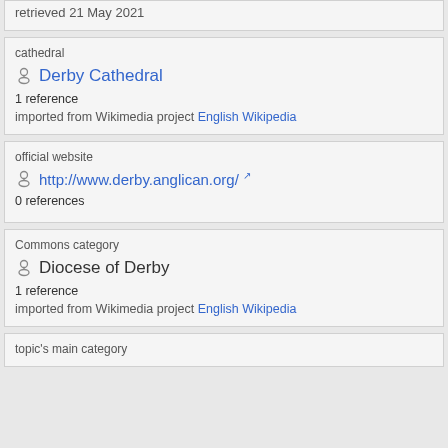retrieved 21 May 2021
cathedral
Derby Cathedral
1 reference
imported from Wikimedia project English Wikipedia
official website
http://www.derby.anglican.org/
0 references
Commons category
Diocese of Derby
1 reference
imported from Wikimedia project English Wikipedia
topic's main category